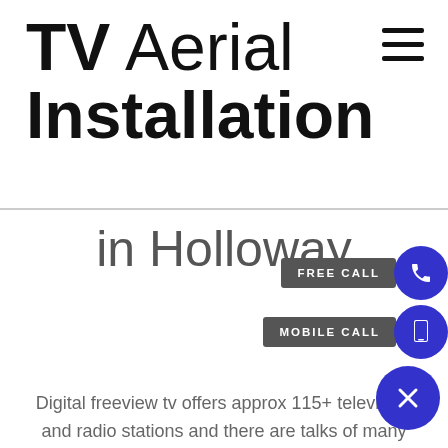TV Aerial Installation
in Holloway
Digital freeview tv offers approx 115+ television and radio stations and there are talks of many more services including hd channels to added in the near future freeview television is absolutely free it also offer some subscription services that must be paid for a service provider, in order to view freeview digital television you require a tv with built in freeview which most lcd tvs come with today or a set top box which can be supplied by us or purchased through an electrical retail outlet store, If you have a digital aerial already and are suffering from poor reception we also offer an existing tv aerial service in Holloway for your